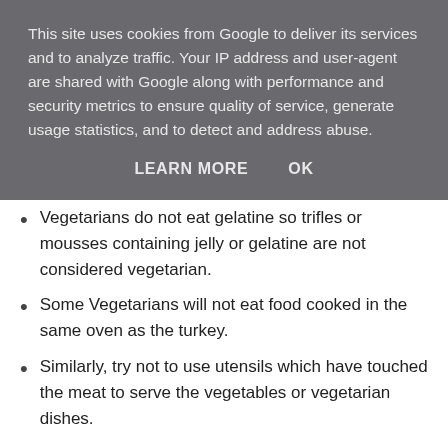This site uses cookies from Google to deliver its services and to analyze traffic. Your IP address and user-agent are shared with Google along with performance and security metrics to ensure quality of service, generate usage statistics, and to detect and address abuse.
LEARN MORE    OK
Vegetarians do not eat gelatine so trifles or mousses containing jelly or gelatine are not considered vegetarian.
Some Vegetarians will not eat food cooked in the same oven as the turkey.
Similarly, try not to use utensils which have touched the meat to serve the vegetables or vegetarian dishes.
Some Cheeses are not suitable for Vegetarians so do check before using. The Veg Society website has a good comprehensive list.
Do check the packaging of other products you use to check whether they are suitable for